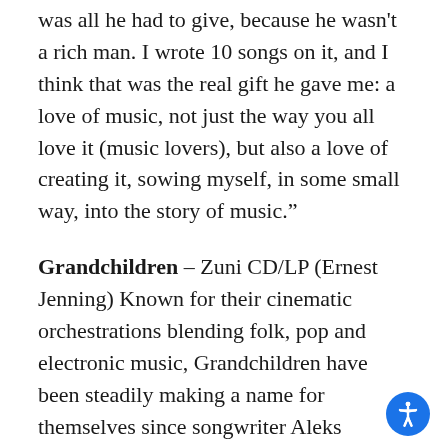was all he had to give, because he wasn't a rich man. I wrote 10 songs on it, and I think that was the real gift he gave me: a love of music, not just the way you all love it (music lovers), but also a love of creating it, sowing myself, in some small way, into the story of music.”
Grandchildren – Zuni CD/LP (Ernest Jenning) Known for their cinematic orchestrations blending folk, pop and electronic music, Grandchildren have been steadily making a name for themselves since songwriter Aleks Martray founded the group in Philadelphia in 2008. Since then the band has evolved into a